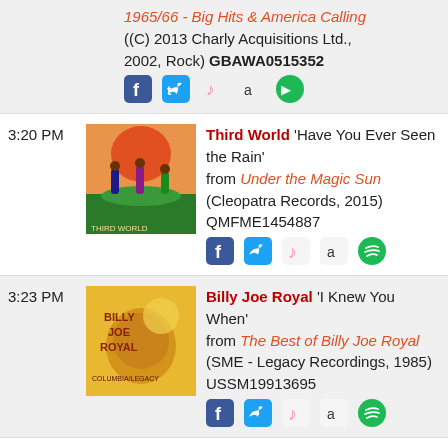1965/66 - Big Hits & America Calling ((C) 2013 Charly Acquisitions Ltd., 2002, Rock) GBAWA0515352
3:20 PM - Third World 'Have You Ever Seen the Rain' from Under the Magic Sun (Cleopatra Records, 2015) QMFME1454887
3:23 PM - Billy Joe Royal 'I Knew You When' from The Best of Billy Joe Royal (SME - Legacy Recordings, 1985) USSM19913695
3:26 PM - Steely Dan 'Any Major Dude Will Tell You' Walter Becker, Donald Fagen